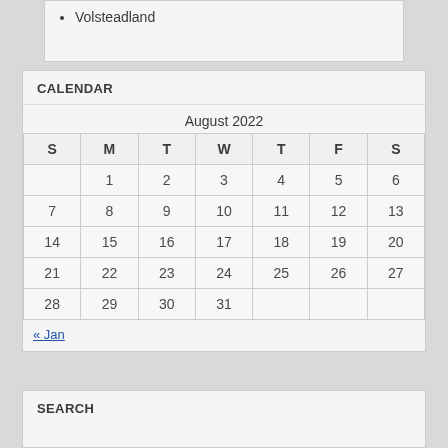Volsteadland
CALENDAR
| S | M | T | W | T | F | S |
| --- | --- | --- | --- | --- | --- | --- |
|  | 1 | 2 | 3 | 4 | 5 | 6 |
| 7 | 8 | 9 | 10 | 11 | 12 | 13 |
| 14 | 15 | 16 | 17 | 18 | 19 | 20 |
| 21 | 22 | 23 | 24 | 25 | 26 | 27 |
| 28 | 29 | 30 | 31 |  |  |  |
« Jan
SEARCH